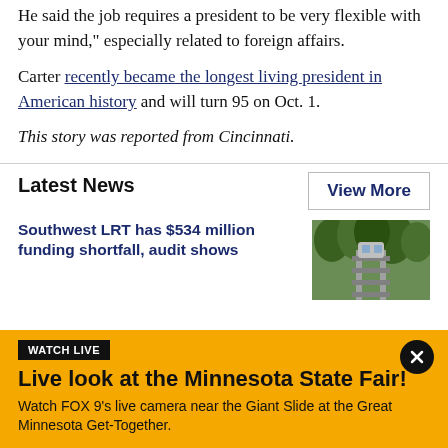He said the job requires a president to be very flexible with your mind," especially related to foreign affairs.
Carter recently became the longest living president in American history and will turn 95 on Oct. 1.
This story was reported from Cincinnati.
Latest News
View More
Southwest LRT has $534 million funding shortfall, audit shows
[Figure (photo): Photo of a rail/train track or roller coaster through trees]
WATCH LIVE
Live look at the Minnesota State Fair!
Watch FOX 9's live camera near the Giant Slide at the Great Minnesota Get-Together.